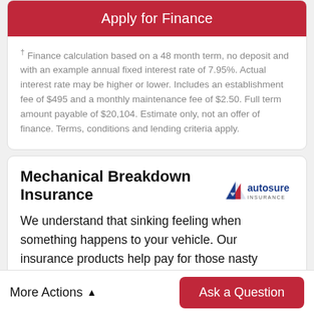Apply for Finance
† Finance calculation based on a 48 month term, no deposit and with an example annual fixed interest rate of 7.95%. Actual interest rate may be higher or lower. Includes an establishment fee of $495 and a monthly maintenance fee of $2.50. Full term amount payable of $20,104. Estimate only, not an offer of finance. Terms, conditions and lending criteria apply.
Mechanical Breakdown Insurance
[Figure (logo): Autosure Insurance logo with red triangle/arrow and blue text]
We understand that sinking feeling when something happens to your vehicle. Our insurance products help pay for those nasty surprises, helping you get back on the road again quickly.
More Actions    Ask a Question